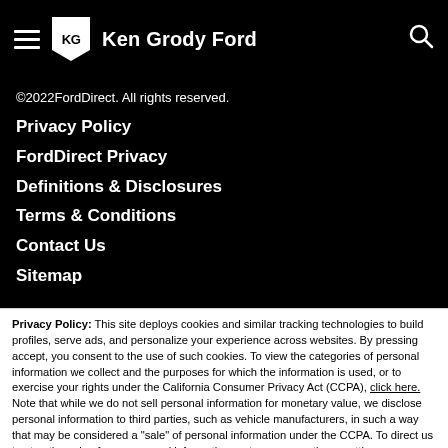Ken Grody Ford
©2022FordDirect. All rights reserved.
Privacy Policy
FordDirect Privacy
Definitions & Disclosures
Terms & Conditions
Contact Us
Sitemap
Privacy Policy: This site deploys cookies and similar tracking technologies to build profiles, serve ads, and personalize your experience across websites. By pressing accept, you consent to the use of such cookies. To view the categories of personal information we collect and the purposes for which the information is used, or to exercise your rights under the California Consumer Privacy Act (CCPA), click here. Note that while we do not sell personal information for monetary value, we disclose personal information to third parties, such as vehicle manufacturers, in such a way that may be considered a "sale" of personal information under the CCPA. To direct us to stop the sale of your personal information, or to re-access these settings or disclosures at anytime, click the following icon or link:
Do Not Sell My Personal Information
Language: English
Powered by ComplyAuto
Accept and Continue →
California Privacy Disclosures